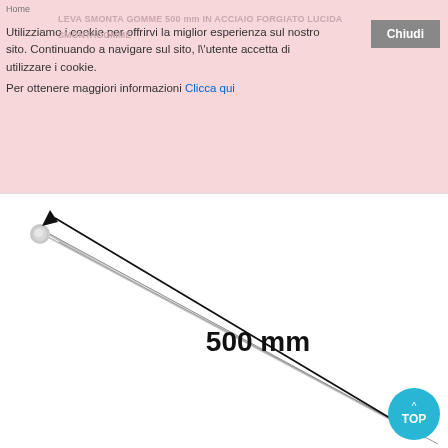Home
Utilizziamo i cookie per offrirvi la miglior esperienza sul nostro sito. Continuando a navigare sul sito, l'utente accetta di utilizzare i cookie.
Per ottenere maggiori informazioni Clicca qui
LEVA SMONTA GOMME 500 mm IN ACCIAIO FORGIATO LUCIDA
SMONTAGOMME
[Figure (photo): A steel tire iron / lever tool approximately 500mm in length, shown diagonally from top-left to bottom-right with a measurement line indicating '500 mm']
Chiudi